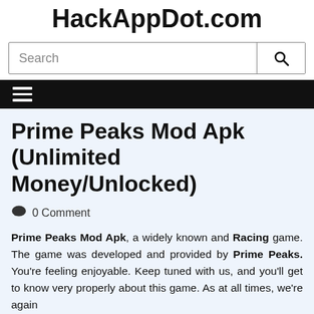HackAppDot.com
Search
Prime Peaks Mod Apk (Unlimited Money/Unlocked)
0 Comment
Prime Peaks Mod Apk, a widely known and Racing game. The game was developed and provided by Prime Peaks. You're feeling enjoyable. Keep tuned with us, and you'll get to know very properly about this game. As at all times, we're again